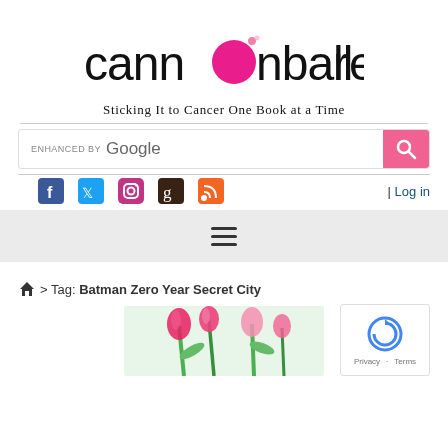[Figure (logo): Cannonball Read logo with pink cannonball replacing letter 'o', black book icons on the right]
Sticking It to Cancer One Book at a Time
[Figure (screenshot): Google search bar with pink search button]
[Figure (infographic): Social media icons: Facebook, Twitter, Instagram, Goodreads, RSS feed, and Log in link]
[Figure (infographic): Hamburger menu navigation bar]
> Tag: Batman Zero Year Secret City
[Figure (photo): Pink tulips photo]